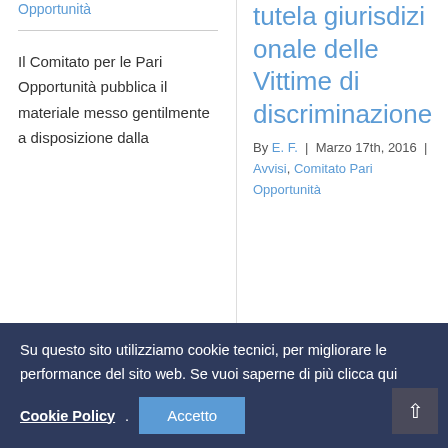Opportunità
Il Comitato per le Pari Opportunità pubblica il materiale messo gentilmente a disposizione dalla
tutela giurisdizionale delle Vittime di discriminazione
By E. F. | Marzo 17th, 2016 | Avvisi, Comitato Pari Opportunità
Su questo sito utilizziamo cookie tecnici, per migliorare le performance del sito web. Se vuoi saperne di più clicca qui Cookie Policy. Accetto